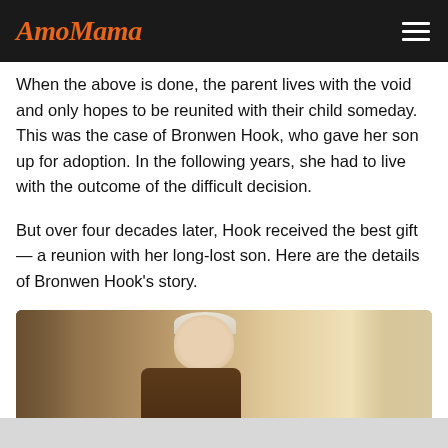AmoMama
When the above is done, the parent lives with the void and only hopes to be reunited with their child someday. This was the case of Bronwen Hook, who gave her son up for adoption. In the following years, she had to live with the outcome of the difficult decision.
But over four decades later, Hook received the best gift — a reunion with her long-lost son. Here are the details of Bronwen Hook’s story.
[Figure (photo): A middle-aged man with short blonde/gray hair wearing a brown leather jacket, photographed indoors with warm lighting.]